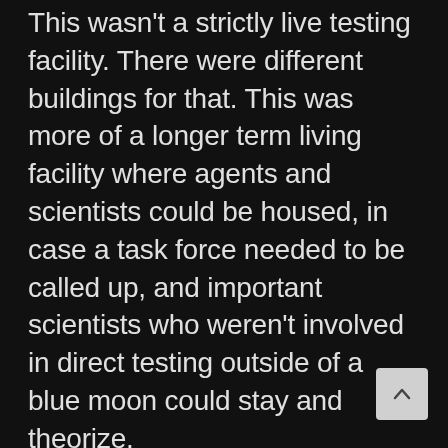This wasn't a strictly live testing facility. There were different buildings for that. This was more of a longer term living facility where agents and scientists could be housed, in case a task force needed to be called up, and important scientists who weren't involved in direct testing outside of a blue moon could stay and theorize.
Low danger research for the most of them. I was certain that there were social psychologists peering at internet traffic to figure out what crazes were being spread through normal means, and which were being spread by anomalous entities hijacking